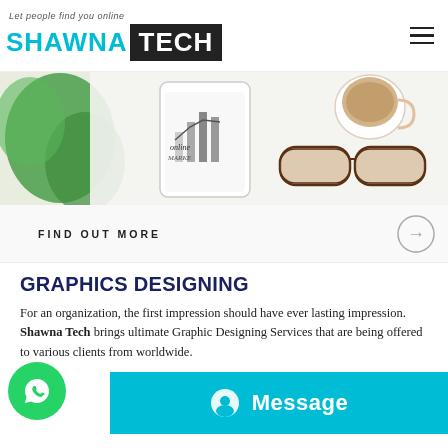Let people find you online — SHAWNA TECH
[Figure (photo): Hero banner photo showing a smartphone with 'online marketing' chart, tropical leaf, coffee cup, and glasses on a white surface]
FIND OUT MORE
GRAPHICS DESIGNING
For an organization, the first impression should have ever lasting impression. Shawna Tech brings ultimate Graphic Designing Services that are being offered to various clients from worldwide.